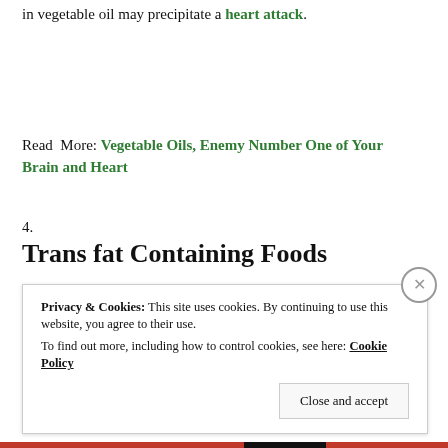in vegetable oil may precipitate a heart attack.
Read More: Vegetable Oils, Enemy Number One of Your Brain and Heart
4.
Trans fat Containing Foods
Privacy & Cookies: This site uses cookies. By continuing to use this website, you agree to their use. To find out more, including how to control cookies, see here: Cookie Policy